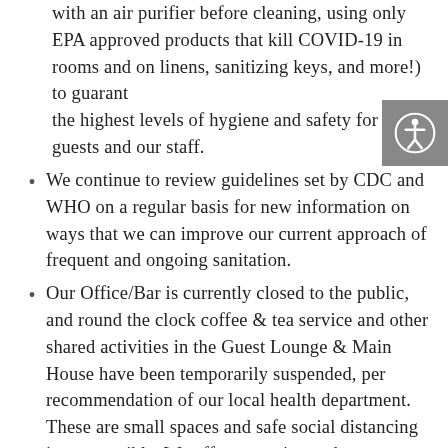with an air purifier before cleaning, using only EPA approved products that kill COVID-19 in rooms and on linens, sanitizing keys, and more!) to guarantee the highest levels of hygiene and safety for our guests and our staff.
We continue to review guidelines set by CDC and WHO on a regular basis for new information on ways that we can improve our current approach of frequent and ongoing sanitation.
Our Office/Bar is currently closed to the public, and round the clock coffee & tea service and other shared activities in the Guest Lounge & Main House have been temporarily suspended, per recommendation of our local health department. These are small spaces and safe social distancing is not possible. We offer extensive and easy contactless delivery options for food and drinks from our bar.
We have reopened the office for limited “to-go”